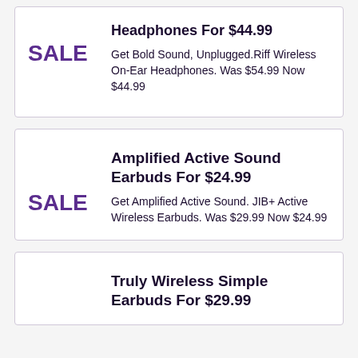Headphones For $44.99
SALE
Get Bold Sound, Unplugged.Riff Wireless On-Ear Headphones. Was $54.99 Now $44.99
Amplified Active Sound Earbuds For $24.99
SALE
Get Amplified Active Sound. JIB+ Active Wireless Earbuds. Was $29.99 Now $24.99
Truly Wireless Simple Earbuds For $29.99